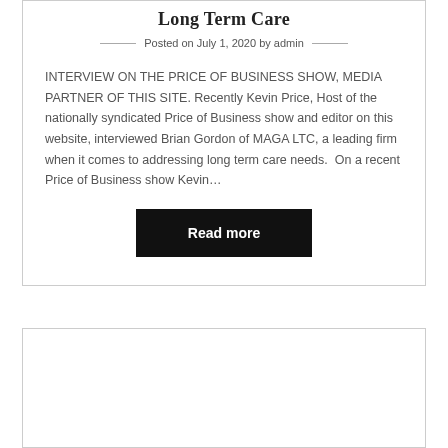Long Term Care
Posted on July 1, 2020 by admin
INTERVIEW ON THE PRICE OF BUSINESS SHOW, MEDIA PARTNER OF THIS SITE. Recently Kevin Price, Host of the nationally syndicated Price of Business show and editor on this website, interviewed Brian Gordon of MAGA LTC, a leading firm when it comes to addressing long term care needs.  On a recent Price of Business show Kevin…
Read more